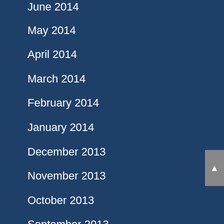June 2014
May 2014
April 2014
March 2014
February 2014
January 2014
December 2013
November 2013
October 2013
September 2013
CATEGORIES
Employment Law